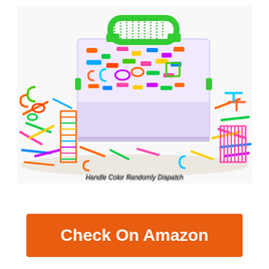[Figure (photo): Colorful plastic building connector toy pieces in and around a clear plastic storage container with a green handle. The container holds many bright multi-colored interlocking pieces, and some are arranged into constructions outside the box. Text at the bottom reads 'Handle Color Randomly Dispatch'.]
Handle Color Randomly Dispatch
Check On Amazon